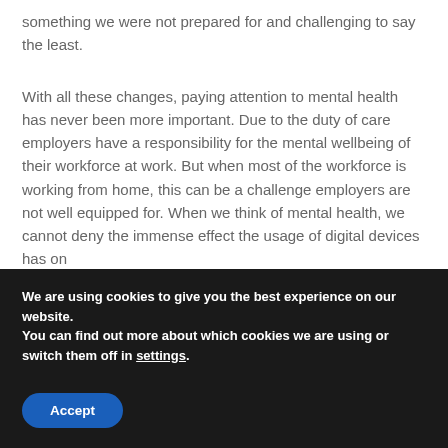something we were not prepared for and challenging to say the least.
With all these changes, paying attention to mental health has never been more important. Due to the duty of care employers have a responsibility for the mental wellbeing of their workforce at work. But when most of the workforce is working from home, this can be a challenge employers are not well equipped for. When we think of mental health, we cannot deny the immense effect the usage of digital devices has on
We are using cookies to give you the best experience on our website.
You can find out more about which cookies we are using or switch them off in settings.
Accept